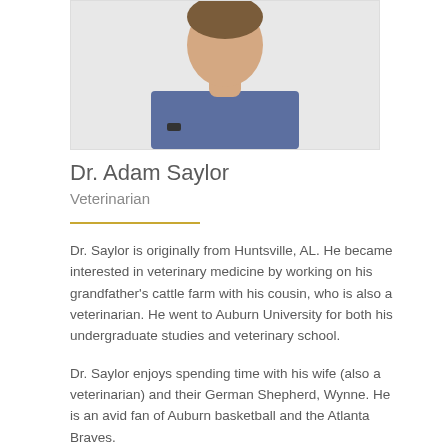[Figure (photo): Photo of Dr. Adam Saylor, a man with arms crossed wearing a blue short-sleeve shirt, shown from waist up against a white background]
Dr. Adam Saylor
Veterinarian
Dr. Saylor is originally from Huntsville, AL. He became interested in veterinary medicine by working on his grandfather's cattle farm with his cousin, who is also a veterinarian. He went to Auburn University for both his undergraduate studies and veterinary school.
Dr. Saylor enjoys spending time with his wife (also a veterinarian) and their German Shepherd, Wynne. He is an avid fan of Auburn basketball and the Atlanta Braves.